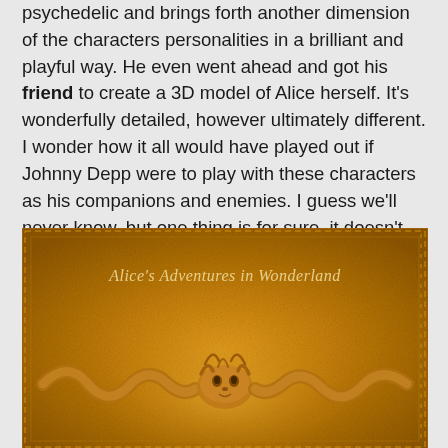psychedelic and brings forth another dimension of the characters personalities in a brilliant and playful way. He even went ahead and got his friend to create a 3D model of Alice herself. It's wonderfully detailed, however ultimately different. I wonder how it all would have played out if Johnny Depp were to play with these characters as his companions and enemies. I guess we'll never know, but one thing is for sure, it doesn't get any weirder than this! And frankly… I love it!
[Figure (illustration): Book cover illustration for Alice's Adventures in Wonderland showing a golden/amber textured background with a serpentine creature that has a face resembling Alice or the Cheshire Cat, with curling snake-like bodies on either side. The title 'Alice's Adventures in Wonderland' is written in light/cream italic text across the upper portion of the image.]